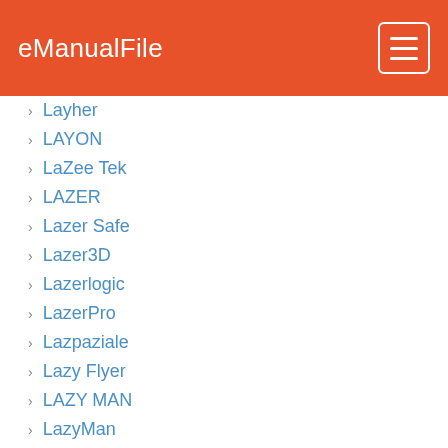eManualFile
Layher
LAYON
LaZee Tek
LAZER
Lazer Safe
Lazer3D
Lazerlogic
LazerPro
Lazpaziale
Lazy Flyer
LAZY MAN
LazyMan
LB Foster
LB Technology
LBA GROUP
LBC
LBE
LBFoster
LBL Lighting
LBS